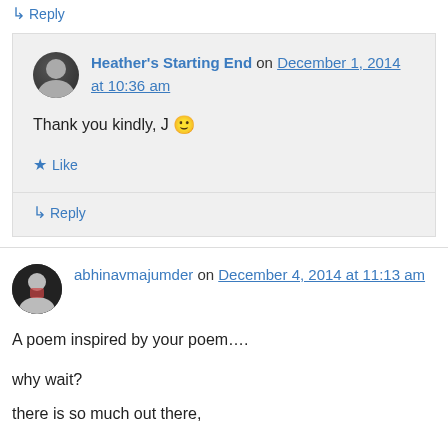↳ Reply
Heather's Starting End on December 1, 2014 at 10:36 am
Thank you kindly, J 🙂
★ Like
↳ Reply
abhinavmajumder on December 4, 2014 at 11:13 am
A poem inspired by your poem….
why wait?
there is so much out there,